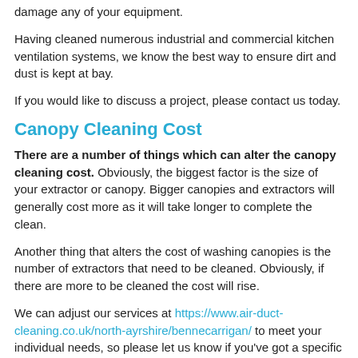We only use high quality products to ensure we do not damage any of your equipment.
Having cleaned numerous industrial and commercial kitchen ventilation systems, we know the best way to ensure dirt and dust is kept at bay.
If you would like to discuss a project, please contact us today.
Canopy Cleaning Cost
There are a number of things which can alter the canopy cleaning cost. Obviously, the biggest factor is the size of your extractor or canopy. Bigger canopies and extractors will generally cost more as it will take longer to complete the clean.
Another thing that alters the cost of washing canopies is the number of extractors that need to be cleaned. Obviously, if there are more to be cleaned the cost will rise.
We can adjust our services at https://www.air-duct-cleaning.co.uk/north-ayrshire/bennecarrigan/ to meet your individual needs, so please let us know if you've got a specific